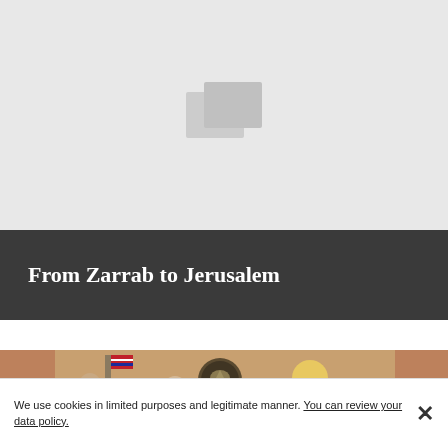[Figure (photo): Gray placeholder area with a faint image placeholder icon (two overlapping rectangles) centered on a light gray background.]
From Zarrab to Jerusalem
[Figure (illustration): A courtroom sketch illustration showing a blonde woman in black presenting documents, a young man seated at a witness stand, an older man seated, an American flag, and the U.S. federal court seal in the background. Pink and orange curtains visible.]
We use cookies in limited purposes and legitimate manner. You can review your data policy.